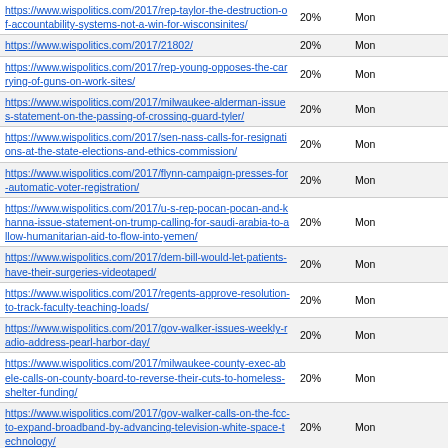| URL | 20% | Mon |
| --- | --- | --- |
| https://www.wispolitics.com/2017/rep-taylor-the-destruction-of-accountability-systems-not-a-win-for-wisconsinites/ | 20% | Mon |
| https://www.wispolitics.com/2017/21802/ | 20% | Mon |
| https://www.wispolitics.com/2017/rep-young-opposes-the-carrying-of-guns-on-work-sites/ | 20% | Mon |
| https://www.wispolitics.com/2017/milwaukee-alderman-issues-statement-on-the-passing-of-crossing-guard-tyler/ | 20% | Mon |
| https://www.wispolitics.com/2017/sen-nass-calls-for-resignations-at-the-state-elections-and-ethics-commission/ | 20% | Mon |
| https://www.wispolitics.com/2017/flynn-campaign-presses-for-automatic-voter-registration/ | 20% | Mon |
| https://www.wispolitics.com/2017/u-s-rep-pocan-pocan-and-khanna-issue-statement-on-trump-calling-for-saudi-arabia-to-allow-humanitarian-aid-to-flow-into-yemen/ | 20% | Mon |
| https://www.wispolitics.com/2017/dem-bill-would-let-patients-have-their-surgeries-videotaped/ | 20% | Mon |
| https://www.wispolitics.com/2017/regents-approve-resolution-to-track-faculty-teaching-loads/ | 20% | Mon |
| https://www.wispolitics.com/2017/gov-walker-issues-weekly-radio-address-pearl-harbor-day/ | 20% | Mon |
| https://www.wispolitics.com/2017/milwaukee-county-exec-abele-calls-on-county-board-to-reverse-their-cuts-to-homeless-shelter-funding/ | 20% | Mon |
| https://www.wispolitics.com/2017/gov-walker-calls-on-the-fcc-to-expand-broadband-by-advancing-television-white-space-technology/ | 20% | Mon |
| https://www.wispolitics.com/2017/wisconsin-department-of-financial-institutions-lt-governor-kleefisch-joins-dfi-to-unveil-college-career-readiness-guide/ | 20% | Mon |
| https://www.wispolitics.com/2017/dairy-business-association-endorses-jarchow-in-race-for-10th-senate-district-seat/ | 20% | Mon |
| https://www.wispolitics.com/2017/wisgop-tony-evers-left-teacher-in-classroom-after-sexual-harassment-allegations/ | 20% | Mon |